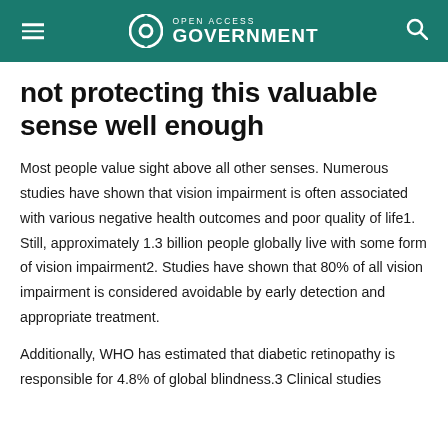Open Access Government
not protecting this valuable sense well enough
Most people value sight above all other senses. Numerous studies have shown that vision impairment is often associated with various negative health outcomes and poor quality of life1. Still, approximately 1.3 billion people globally live with some form of vision impairment2. Studies have shown that 80% of all vision impairment is considered avoidable by early detection and appropriate treatment.
Additionally, WHO has estimated that diabetic retinopathy is responsible for 4.8% of global blindness.3 Clinical studies